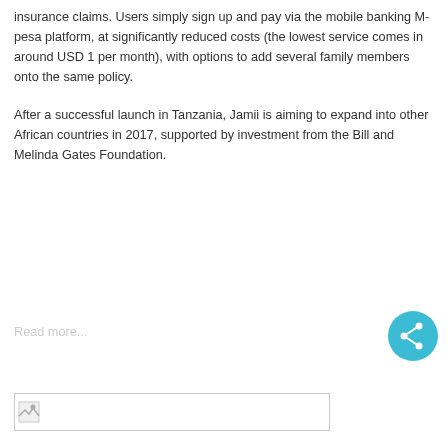insurance claims. Users simply sign up and pay via the mobile banking M-pesa platform, at significantly reduced costs (the lowest service comes in around USD 1 per month), with options to add several family members onto the same policy.
After a successful launch in Tanzania, Jamii is aiming to expand into other African countries in 2017, supported by investment from the Bill and Melinda Gates Foundation.
Read more...
[Figure (other): A broken image placeholder thumbnail at the bottom of the page]